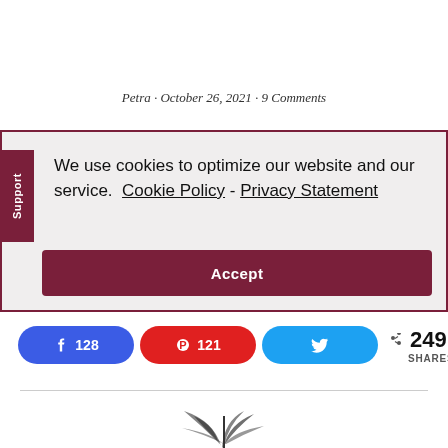Petra · October 26, 2021 · 9 Comments
We use cookies to optimize our website and our service.  Cookie Policy - Privacy Statement
Accept
128  121  249 SHARES